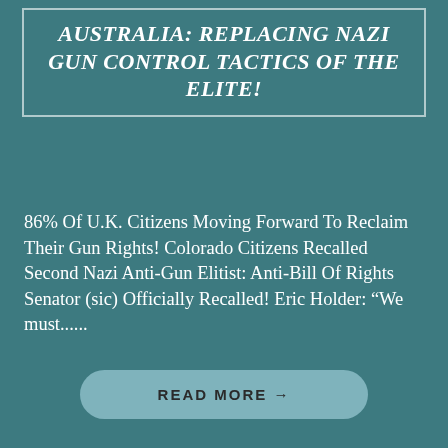AUSTRALIA: REPLACING NAZI GUN CONTROL TACTICS OF THE ELITE!
86% Of U.K. Citizens Moving Forward To Reclaim Their Gun Rights! Colorado Citizens Recalled Second Nazi Anti-Gun Elitist: Anti-Bill Of Rights Senator (sic) Officially Recalled! Eric Holder: “We must......
READ MORE →